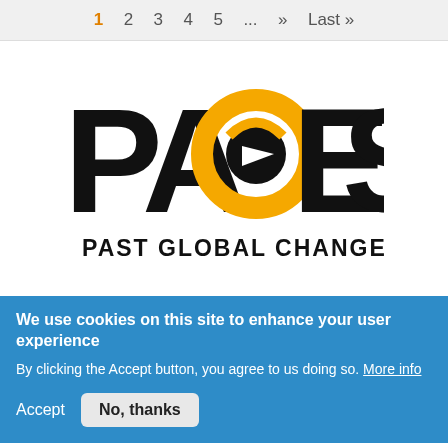1  2  3  4  5  ...  »  Last »
[Figure (logo): PAGES - Past Global Changes logo: large black text 'PAGES' with the letter G replaced by an orange and black circular orbit/globe symbol, with 'PAST GLOBAL CHANGES' text below in black sans-serif.]
We use cookies on this site to enhance your user experience
By clicking the Accept button, you agree to us doing so. More info
Accept   No, thanks